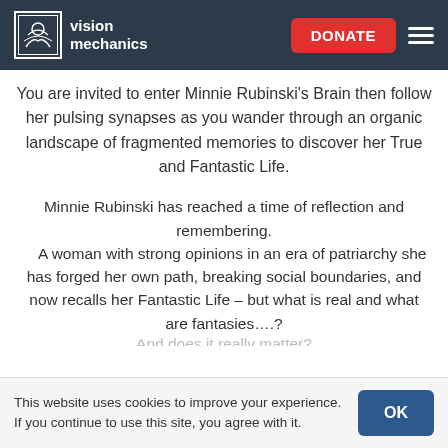vision mechanics | DONATE
You are invited to enter Minnie Rubinski's Brain then follow her pulsing synapses as you wander through an organic landscape of fragmented memories to discover her True and Fantastic Life.
Minnie Rubinski has reached a time of reflection and remembering. A woman with strong opinions in an era of patriarchy she has forged her own path, breaking social boundaries, and now recalls her Fantastic Life – but what is real and what are fantasies….?
This website uses cookies to improve your experience. If you continue to use this site, you agree with it.